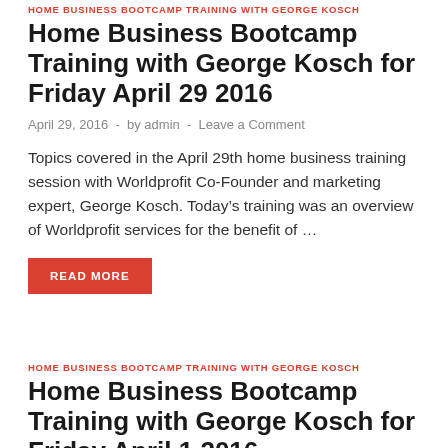HOME BUSINESS BOOTCAMP TRAINING WITH GEORGE KOSCH
Home Business Bootcamp Training with George Kosch for Friday April 29 2016
April 29, 2016  -  by admin  -  Leave a Comment
Topics covered in the April 29th home business training session with Worldprofit Co-Founder and marketing expert, George Kosch. Today’s training was an overview of Worldprofit services for the benefit of …
READ MORE
HOME BUSINESS BOOTCAMP TRAINING WITH GEORGE KOSCH
Home Business Bootcamp Training with George Kosch for Friday April 1 2016
April 1, 2016  -  by admin  -  Leave a Comment
Review of LIVE Home Business Bootcamp Training with George Kosch, Friday April 1 2016. In this session...